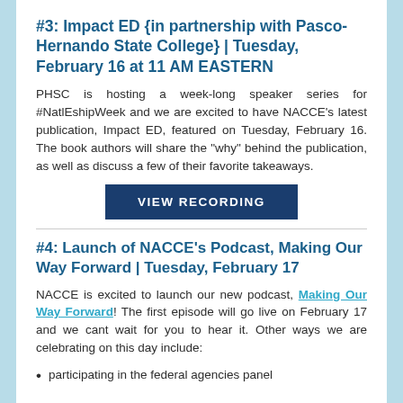#3: Impact ED {in partnership with Pasco-Hernando State College} | Tuesday, February 16 at 11 AM EASTERN
PHSC is hosting a week-long speaker series for #NatlEshipWeek and we are excited to have NACCE's latest publication, Impact ED, featured on Tuesday, February 16. The book authors will share the "why" behind the publication, as well as discuss a few of their favorite takeaways.
VIEW RECORDING
#4: Launch of NACCE's Podcast, Making Our Way Forward | Tuesday, February 17
NACCE is excited to launch our new podcast, Making Our Way Forward! The first episode will go live on February 17 and we cant wait for you to hear it. Other ways we are celebrating on this day include:
participating in the federal agencies panel